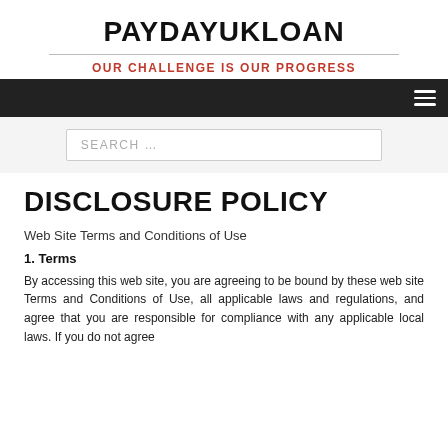PAYDAYUKLOAN
OUR CHALLENGE IS OUR PROGRESS
[Figure (other): Navigation bar with hamburger menu icon on dark background]
[Figure (other): Search bar with placeholder text SEARCH ...]
DISCLOSURE POLICY
Web Site Terms and Conditions of Use
1. Terms
By accessing this web site, you are agreeing to be bound by these web site Terms and Conditions of Use, all applicable laws and regulations, and agree that you are responsible for compliance with any applicable local laws. If you do not agree